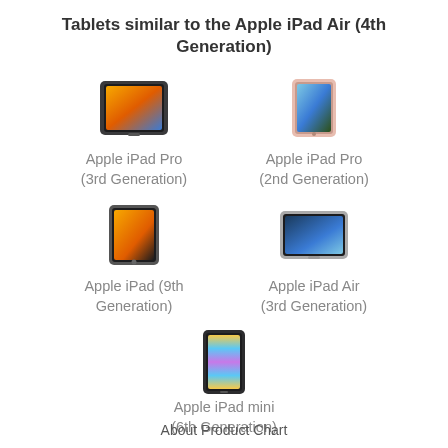Tablets similar to the Apple iPad Air (4th Generation)
[Figure (photo): Apple iPad Pro (3rd Generation) tablet image]
Apple iPad Pro (3rd Generation)
[Figure (photo): Apple iPad Pro (2nd Generation) tablet image]
Apple iPad Pro (2nd Generation)
[Figure (photo): Apple iPad (9th Generation) tablet image]
Apple iPad (9th Generation)
[Figure (photo): Apple iPad Air (3rd Generation) tablet image]
Apple iPad Air (3rd Generation)
[Figure (photo): Apple iPad mini (6th Generation) tablet image]
Apple iPad mini (6th Generation)
About Product Chart